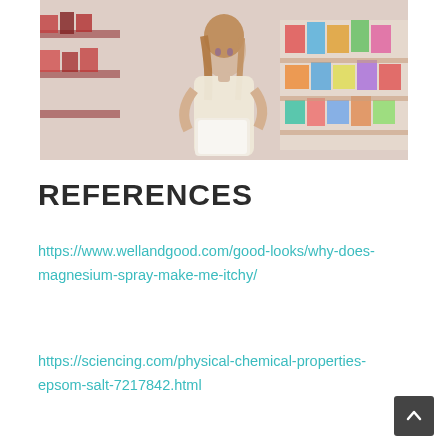[Figure (photo): Woman standing in a store aisle reading a product label or book, with blurred colorful shelves in the background.]
REFERENCES
https://www.wellandgood.com/good-looks/why-does-magnesium-spray-make-me-itchy/
https://sciencing.com/physical-chemical-properties-epsom-salt-7217842.html